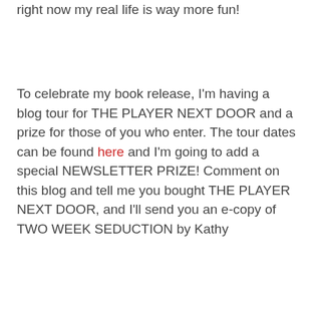right now my real life is way more fun!
To celebrate my book release, I'm having a blog tour for THE PLAYER NEXT DOOR and a prize for those of you who enter. The tour dates can be found here and I'm going to add a special NEWSLETTER PRIZE! Comment on this blog and tell me you bought THE PLAYER NEXT DOOR, and I'll send you an e-copy of TWO WEEK SEDUCTION by Kathy